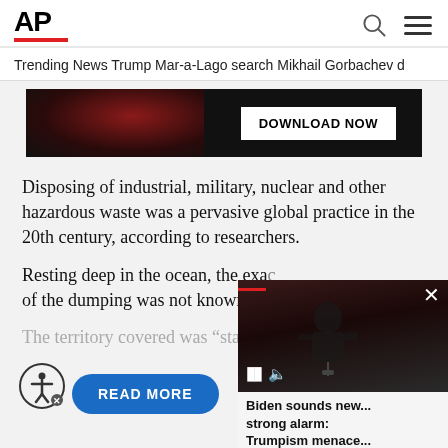AP
Trending News   Trump Mar-a-Lago search   Mikhail Gorbachev d
[Figure (screenshot): Dark advertisement banner with DOWNLOAD NOW button]
Disposing of industrial, military, nuclear and other hazardous waste was a pervasive global practice in the 20th century, according to researchers.
Resting deep in the ocean, the exac... of the dumping was not known unt...
The territory covered was “stagger...
[Figure (screenshot): Video overlay showing Biden speaking with caption: Biden sounds new... strong alarm: Trumpism menace...]
READ MORE